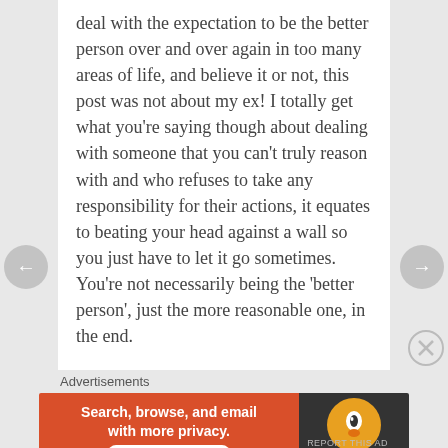deal with the expectation to be the better person over and over again in too many areas of life, and believe it or not, this post was not about my ex! I totally get what you’re saying though about dealing with someone that you can’t truly reason with and who refuses to take any responsibility for their actions, it equates to beating your head against a wall so you just have to let it go sometimes. You’re not necessarily being the ‘better person’, just the more reasonable one, in the end.
★ Liked by 3 people
REPLY
OCTOBER 18, 2017 AT 10:02 AM
Advertisements
[Figure (other): DuckDuckGo advertisement banner: orange left panel saying 'Search, browse, and email with more privacy. All in One Free App' and dark right panel with DuckDuckGo logo]